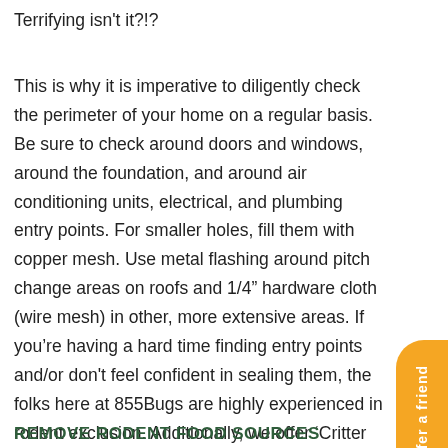Terrifying isn't it?!?
This is why it is imperative to diligently check the perimeter of your home on a regular basis. Be sure to check around doors and windows, around the foundation, and around air conditioning units, electrical, and plumbing entry points. For smaller holes, fill them with copper mesh. Use metal flashing around pitch change areas on roofs and 1/4" hardware cloth (wire mesh) in other, more extensive areas. If you're having a hard time finding entry points and/or don't feel confident in sealing them, the folks here at 855Bugs are highly experienced in rodent exclusion. Additionally, we offer 'Critter Quitter' vent covers to protect vent openings from rodents and add additional protection from roof leaks.
REMOVE RODENT FOOD SOURCES